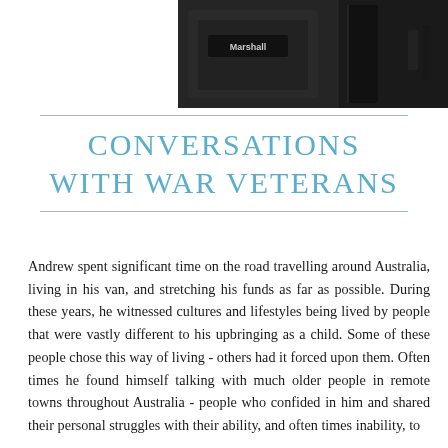[Figure (photo): Dark background photo showing a Marshall-branded item and equipment, likely a music or audio setup with dark/black gear visible.]
CONVERSATIONS WITH WAR VETERANS
Andrew spent significant time on the road travelling around Australia, living in his van, and stretching his funds as far as possible. During these years, he witnessed cultures and lifestyles being lived by people that were vastly different to his upbringing as a child. Some of these people chose this way of living - others had it forced upon them. Often times he found himself talking with much older people in remote towns throughout Australia - people who confided in him and shared their personal struggles with their ability, and often times inability, to